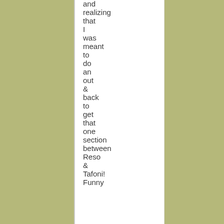and realizing that I was meant to do an out & back to get that one section between Reso & Tafoni! Funny